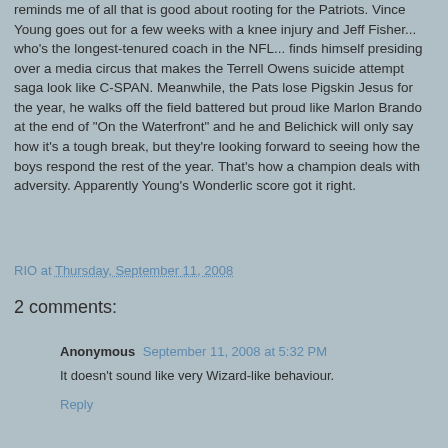reminds me of all that is good about rooting for the Patriots. Vince Young goes out for a few weeks with a knee injury and Jeff Fisher... who's the longest-tenured coach in the NFL... finds himself presiding over a media circus that makes the Terrell Owens suicide attempt saga look like C-SPAN. Meanwhile, the Pats lose Pigskin Jesus for the year, he walks off the field battered but proud like Marlon Brando at the end of "On the Waterfront" and he and Belichick will only say how it's a tough break, but they're looking forward to seeing how the boys respond the rest of the year. That's how a champion deals with adversity. Apparently Young's Wonderlic score got it right.
RIO at Thursday, September 11, 2008
2 comments:
Anonymous September 11, 2008 at 5:32 PM
It doesn't sound like very Wizard-like behaviour.
Reply